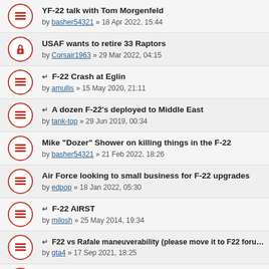YF-22 talk with Tom Morgenfeld
by basher54321 » 18 Apr 2022, 15:44
USAF wants to retire 33 Raptors
by Corsair1963 » 29 Mar 2022, 04:15
[moved] F-22 Crash at Eglin
by amullis » 15 May 2020, 21:11
[moved] A dozen F-22's deployed to Middle East
by tank-top » 29 Jun 2019, 00:34
Mike "Dozer" Shower on killing things in the F-22
by basher54321 » 21 Feb 2022, 18:26
Air Force looking to small business for F-22 upgrades
by edpop » 18 Jan 2022, 05:30
[moved] F-22 AIRST
by milosh » 25 May 2014, 19:34
[moved] F22 vs Rafale maneuverability (please move it to F22 forum)
by gta4 » 17 Sep 2021, 18:25
F-22 Raptor needs HMCS to take full advantage of AIM-9x
by linkomart » 01 Feb 2013, 10:11
[moved] F-22 FAA Something (partial, cut off)